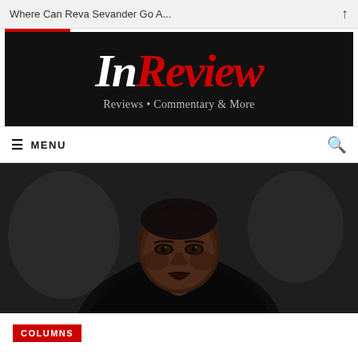Where Can Reva Sevander Go A...
[Figure (logo): InReview magazine logo — black background with 'In' in white italic serif and 'Review' in red italic serif, tagline 'Reviews • Commentary & More' in light gray below]
≡ MENU
[Figure (photo): Close-up photo of a young Black woman wearing a black hooded robe/cloak, looking intensely at camera, dark moody background — character Reva Sevander from Star Wars]
COLUMNS